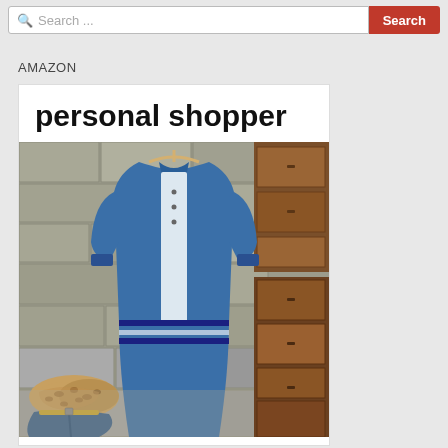Search ...  Search
AMAZON
[Figure (photo): Amazon Personal Shopper advertisement showing a denim jacket/dress on a wooden hanger against a stone wall background, with leopard print boots and denim jeans visible at the bottom left, and a wooden dresser on the right.]
personal shopper